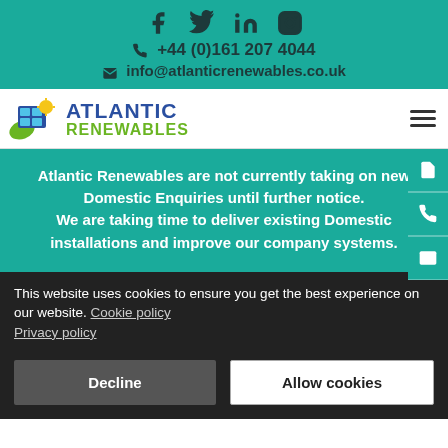Social icons: Facebook, Twitter, LinkedIn, Instagram
+44 (0)161 207 4044
info@atlanticrenewables.co.uk
[Figure (logo): Atlantic Renewables logo with solar panel and leaf icons, blue ATLANTIC text and green RENEWABLES text]
Atlantic Renewables are not currently taking on new Domestic Enquiries until further notice. We are taking time to deliver existing Domestic installations and improve our company systems.
This website uses cookies to ensure you get the best experience on our website. Cookie policy Privacy policy
Decline | Allow cookies